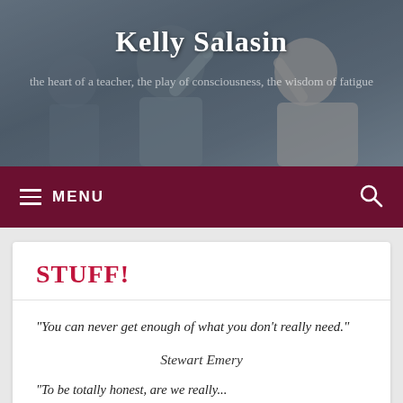[Figure (photo): Two women talking/gesturing in front of a whiteboard, overlaid with dark tint. Website header photo.]
Kelly Salasin
the heart of a teacher, the play of consciousness, the wisdom of fatigue
≡ MENU
STUFF!
“You can never get enough of what you don’t really need.”
Stewart Emery
“To be totally honest, are we really...